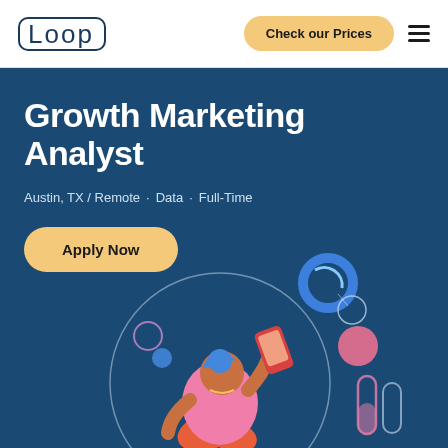LOOP  |  Check our Prices  [menu]
Growth Marketing Analyst
Austin, TX / Remote · Data · Full-Time
Apply Now
[Figure (illustration): Illustration of a person looking at a smartphone, surrounded by floating UI elements, circles, bars, and analytics icons on a dark blue background]